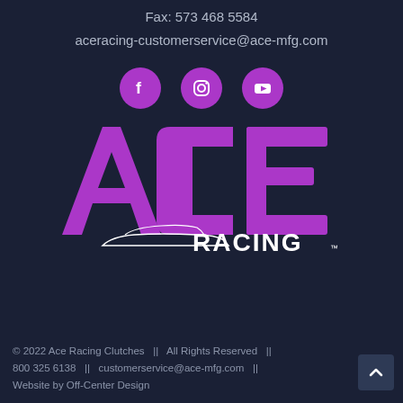Fax: 573 468 5584
aceracing-customerservice@ace-mfg.com
[Figure (logo): Three social media icons (Facebook, Instagram, YouTube) in purple circles]
[Figure (logo): Ace Racing Clutches logo — large purple ACE lettering with RACING in white and a car silhouette, with TM mark]
© 2022 Ace Racing Clutches   ||   All Rights Reserved   ||   800 325 6138   ||   customerservice@ace-mfg.com   ||   Website by Off-Center Design